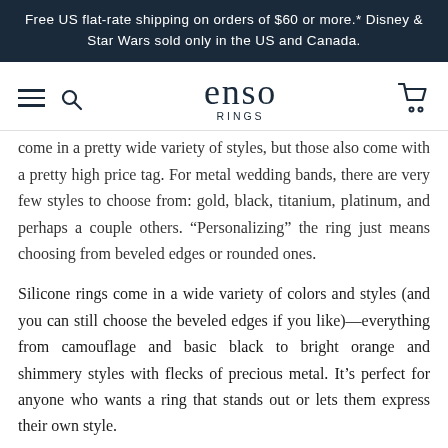Free US flat-rate shipping on orders of $60 or more.* Disney & Star Wars sold only in the US and Canada.
[Figure (logo): Enso Rings logo with hamburger menu, search icon, and cart icon in navigation bar]
come in a pretty wide variety of styles, but those also come with a pretty high price tag. For metal wedding bands, there are very few styles to choose from: gold, black, titanium, platinum, and perhaps a couple others. “Personalizing” the ring just means choosing from beveled edges or rounded ones.
Silicone rings come in a wide variety of colors and styles (and you can still choose the beveled edges if you like)—everything from camouflage and basic black to bright orange and shimmery styles with flecks of precious metal. It’s perfect for anyone who wants a ring that stands out or lets them express their own style.